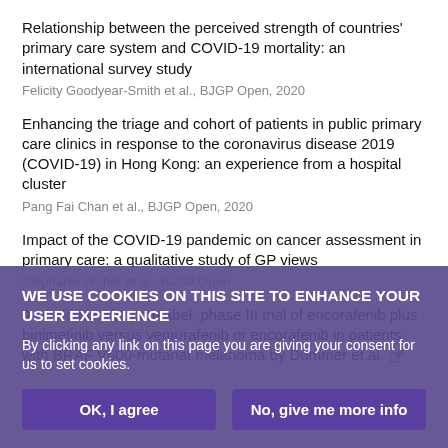Relationship between the perceived strength of countries' primary care system and COVID-19 mortality: an international survey study
Felicity Goodyear-Smith et al., BJGP Open, 2020
Enhancing the triage and cohort of patients in public primary care clinics in response to the coronavirus disease 2019 (COVID-19) in Hong Kong: an experience from a hospital cluster
Pang Fai Chan et al., BJGP Open, 2020
Impact of the COVID-19 pandemic on cancer assessment in primary care: a qualitative study of GP views
Stephanie Archer et al., BJGP Open
A randomized, open-label, phase III trial of encorafenib plus binimetinib versus vemurafenib or encorafenib in patients with BRAF V600-mutanat melanoma by Dummer et al.
WE USE COOKIES ON THIS SITE TO ENHANCE YOUR USER EXPERIENCE
By clicking any link on this page you are giving your consent for us to set cookies.